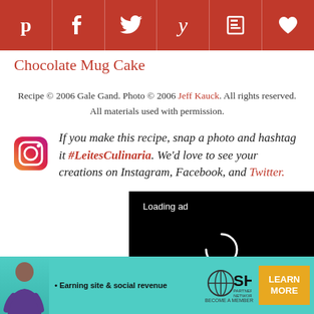[Figure (other): Social sharing bar with Pinterest, Facebook, Twitter, Yummly, Flipboard, and heart/save icons on dark red background]
Chocolate Mug Cake
Recipe © 2006 Gale Gand. Photo © 2006 Jeff Kauck. All rights reserved. All materials used with permission.
If you make this recipe, snap a photo and hashtag it #LeitesCulinaria. We'd love to see your creations on Instagram, Facebook, and Twitter.
[Figure (other): Video player overlay with 'Loading ad' text, spinner, and playback controls on black background]
[Figure (other): SHE Media Partner Network advertisement banner with teal background and Learn More button]